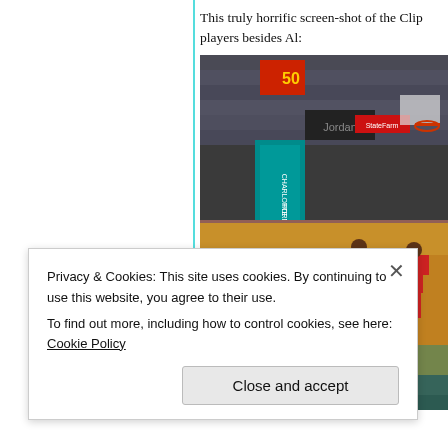This truly horrific screen-shot of the Clip players besides Al:
[Figure (screenshot): Basketball game screenshot showing Charlotte Hornets court with players in a game, crowd visible in background, scoreboard showing 50, Charlotte Hornets logo visible on court floor]
Privacy & Cookies: This site uses cookies. By continuing to use this website, you agree to their use.
To find out more, including how to control cookies, see here: Cookie Policy
Close and accept